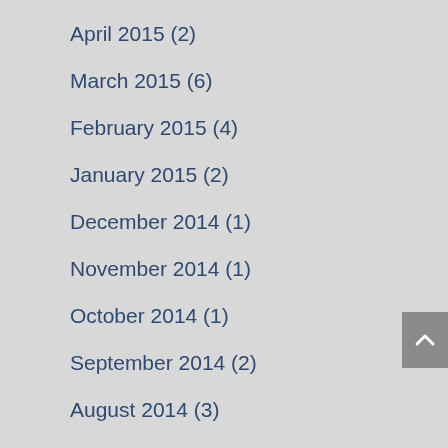April 2015 (2)
March 2015 (6)
February 2015 (4)
January 2015 (2)
December 2014 (1)
November 2014 (1)
October 2014 (1)
September 2014 (2)
August 2014 (3)
June 2014 (1)
May 2014 (3)
April 2014 (1)